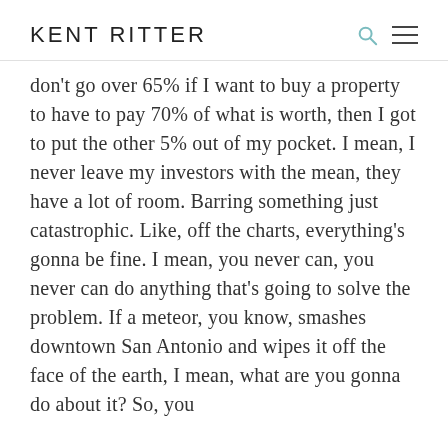KENT RITTER
don't go over 65% if I want to buy a property to have to pay 70% of what is worth, then I got to put the other 5% out of my pocket. I mean, I never leave my investors with the mean, they have a lot of room. Barring something just catastrophic. Like, off the charts, everything's gonna be fine. I mean, you never can, you never can do anything that's going to solve the problem. If a meteor, you know, smashes downtown San Antonio and wipes it off the face of the earth, I mean, what are you gonna do about it? So, you